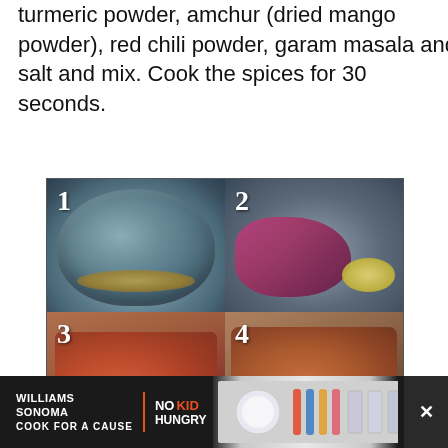turmeric powder, amchur (dried mango powder), red chili powder, garam masala and salt and mix. Cook the spices for 30 seconds.
[Figure (photo): 2x2 grid of numbered cooking step photos showing: 1) oil with mustard seeds in steel pressure cooker, 2) red onion and ginger-garlic paste in cooker, 3) chopped tomatoes with spices, 4) cooked masala base]
[Figure (infographic): Advertisement banner for Williams Sonoma 'No Kid Hungry - Cook For A Cause' with dark background, product images of spatulas and baking items, and an X close button]